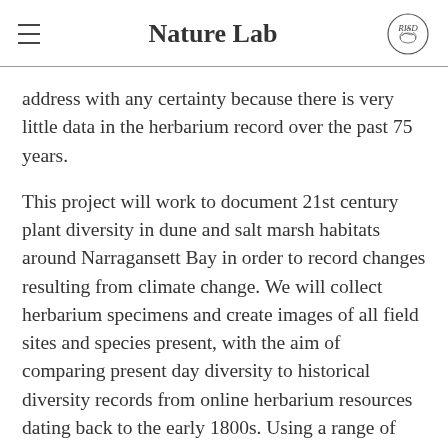Nature Lab
address with any certainty because there is very little data in the herbarium record over the past 75 years.
This project will work to document 21st century plant diversity in dune and salt marsh habitats around Narragansett Bay in order to record changes resulting from climate change. We will collect herbarium specimens and create images of all field sites and species present, with the aim of comparing present day diversity to historical diversity records from online herbarium resources dating back to the early 1800s. Using a range of technologies and design strategies, we will explore the visualization and representation of changes in plant diversity and the extent of coastal dunes and marshes through